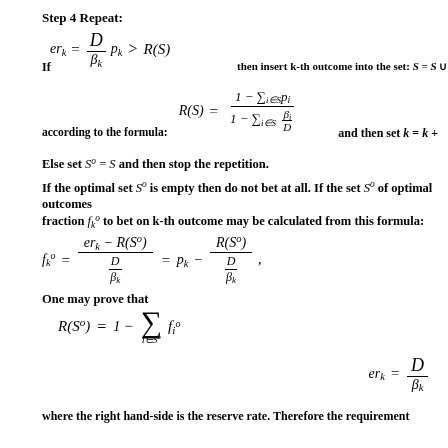Step 4 Repeat:
If ... then insert k-th outcome into the set: S = S ∪ ...
according to the formula: and then set k = k +
Else set S^o = S and then stop the repetition.
If the optimal set S^o is empty then do not bet at all. If the set S^o of optimal outcomes fraction f^o_k to bet on k-th outcome may be calculated from this formula:
One may prove that
where the right hand-side is the reserve rate. Therefore the requirement